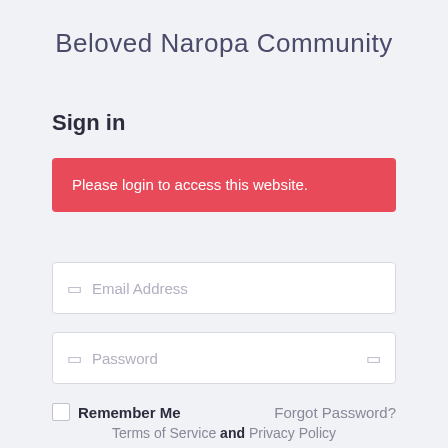Beloved Naropa Community
Sign in
Please login to access this website.
Email Address
Password
Remember Me
Forgot Password?
Log In
Terms of Service and Privacy Policy